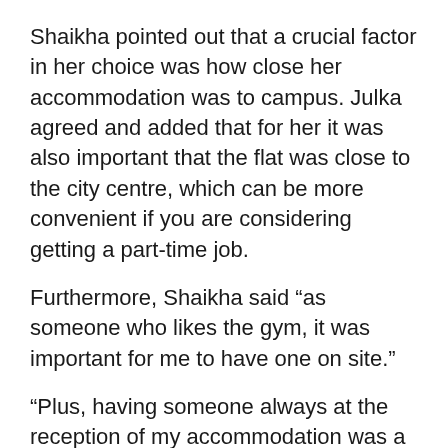Shaikha pointed out that a crucial factor in her choice was how close her accommodation was to campus. Julka agreed and added that for her it was also important that the flat was close to the city centre, which can be more convenient if you are considering getting a part-time job.
Furthermore, Shaikha said “as someone who likes the gym, it was important for me to have one on site.”
“Plus, having someone always at the reception of my accommodation was a big thing for me because it made me feel supported and secured,” she added.